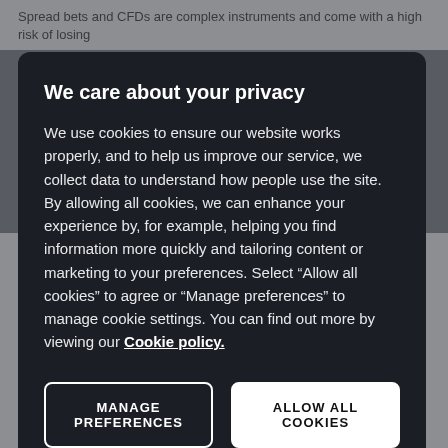Spread bets and CFDs are complex instruments and come with a high risk of losing
We care about your privacy
We use cookies to ensure our website works properly, and to help us improve our service, we collect data to understand how people use the site. By allowing all cookies, we can enhance your experience by, for example, helping you find information more quickly and tailoring content or marketing to your preferences. Select “Allow all cookies” to agree or “Manage preferences” to manage cookie settings. You can find out more by viewing our Cookie policy.
MANAGE PREFERENCES
ALLOW ALL COOKIES
sales coming in above expectations at $96.1bn. Amazons Web Services division has also been a key contributor seeing revenue growth of 29% the last two quarters, and accounting for 12.1% of total revenue.